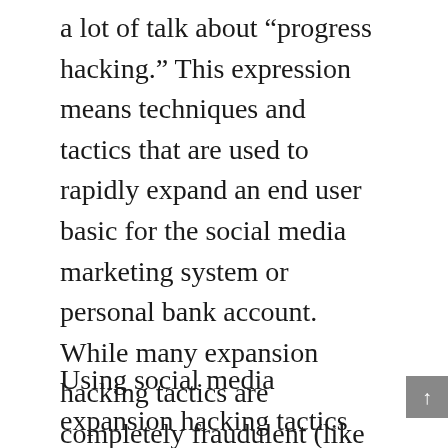a lot of talk about “progress hacking.” This expression means techniques and tactics that are used to rapidly expand an end user basic for the social media marketing system or personal bank account. While many expansion hacking tactics are completely fraudulent (like acquiring bogus buy fans ig (📷ig), there are plenty of ways to ethically increase your social media presence.
Using social media expansion hacking tactics ethically: